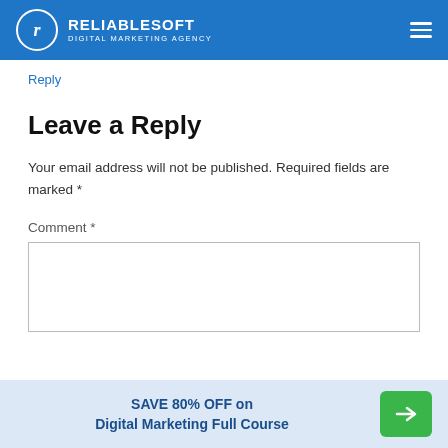RELIABLESOFT DIGITAL MARKETING AGENCY
Reply
Leave a Reply
Your email address will not be published. Required fields are marked *
Comment *
SAVE 80% OFF on Digital Marketing Full Course